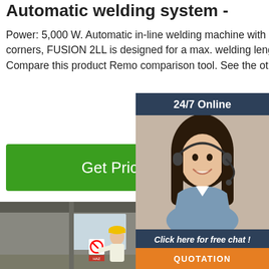Automatic welding system -
Power: 5,000 W. Automatic in-line welding machine with fixed head and movable head for 90° corners, FUSION 2LL is designed for a max. welding length of 2440 mm. FUSION 2LL provided ... Compare this product Remove comparison tool. See the other products
[Figure (other): Green 'Get Price' button]
[Figure (other): 24/7 Online chat widget with customer service agent photo, 'Click here for free chat!' text, and orange QUOTATION button]
[Figure (photo): Workers in yellow hard hats inside an industrial warehouse/factory, with a no-smoking sign visible]